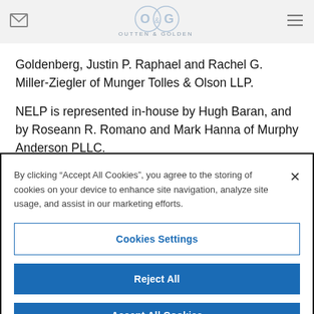Outten & Golden
Goldenberg, Justin P. Raphael and Rachel G. Miller-Ziegler of Munger Tolles & Olson LLP.
NELP is represented in-house by Hugh Baran, and by Roseann R. Romano and Mark Hanna of Murphy Anderson PLLC.
By clicking “Accept All Cookies”, you agree to the storing of cookies on your device to enhance site navigation, analyze site usage, and assist in our marketing efforts.
Cookies Settings
Reject All
Accept All Cookies